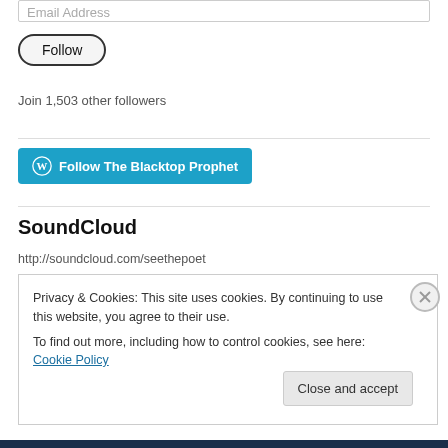Email Address
Follow
Join 1,503 other followers
[Figure (other): WordPress Follow button: blue rounded rectangle with WordPress logo and text 'Follow The Blacktop Prophet']
SoundCloud
http://soundcloud.com/seethepoet
Privacy & Cookies: This site uses cookies. By continuing to use this website, you agree to their use.
To find out more, including how to control cookies, see here: Cookie Policy
Close and accept